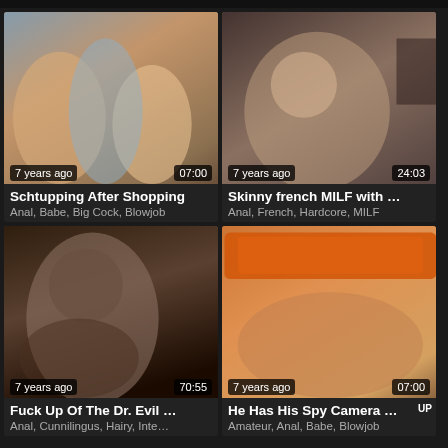[Figure (screenshot): Video thumbnail grid showing 4 video cards with titles, tags, timestamps, and durations]
Schtupping After Shopping
Anal, Babe, Big Cock, Blowjob
Skinny french MILF with …
Anal, French, Hardcore, MILF
Fuck Up Of The Dr. Evil …
Anal, Cunnilingus, Hairy, Inte…
He Has His Spy Camera …
Amateur, Anal, Babe, Blowjob